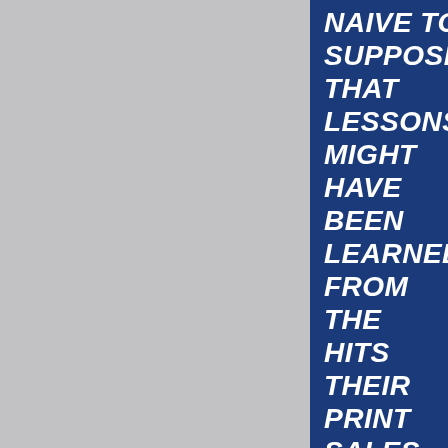[Figure (illustration): Textured light grey background occupying the left two-thirds of the page, with a mottled/embossed paper-like surface texture.]
NAIVE TO SUPPOSE THAT LESSONS MIGHT HAVE BEEN LEARNED FROM THE HITS THEIR PRINT SALES AND ONLINE TRAFFIC RATES TOOK AS A